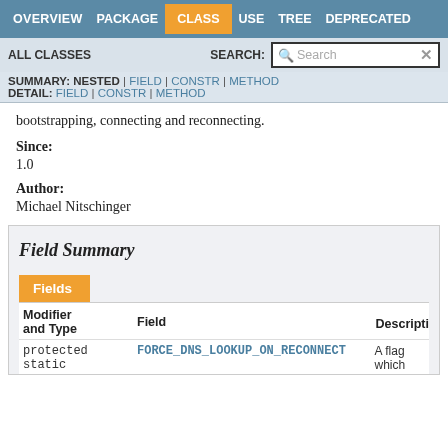OVERVIEW  PACKAGE  CLASS  USE  TREE  DEPRECATED
ALL CLASSES  SEARCH:
SUMMARY: NESTED | FIELD | CONSTR | METHOD  DETAIL: FIELD | CONSTR | METHOD
bootstrapping, connecting and reconnecting.
Since:
1.0
Author:
Michael Nitschinger
Field Summary
| Modifier and Type | Field | Description |
| --- | --- | --- |
| protected static | FORCE_DNS_LOOKUP_ON_RECONNECT | A flag which |